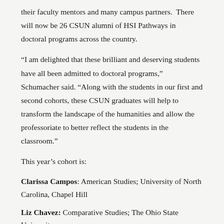their faculty mentors and many campus partners. There will now be 26 CSUN alumni of HSI Pathways in doctoral programs across the country.
“I am delighted that these brilliant and deserving students have all been admitted to doctoral programs,” Schumacher said. “Along with the students in our first and second cohorts, these CSUN graduates will help to transform the landscape of the humanities and allow the professoriate to better reflect the students in the classroom.”
This year’s cohort is:
Clarissa Campos: American Studies; University of North Carolina, Chapel Hill
Liz Chavez: Comparative Studies; The Ohio State University
Kevin Ginosian: Rhetoric, Composition, and the Teaching of English;